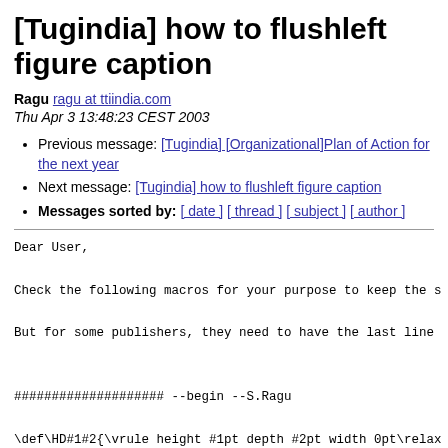[Tugindia] how to flushleft figure caption
Ragu ragu at ttiindia.com
Thu Apr 3 13:48:23 CEST 2003
Previous message: [Tugindia] [Organizational]Plan of Action for the next year
Next message: [Tugindia] how to flushleft figure caption
Messages sorted by: [ date ] [ thread ] [ subject ] [ author ]
Dear User,
Check the following macros for your purpose to keep the s
But for some publishers, they need to have the last line
#################### --begin --S.Ragu
\def\HD#1#2{\vrule height #1pt depth #2pt width 0pt\relax
\newcommand\listfigurename{List of Figures}
\newcommand\figurename{Figure}